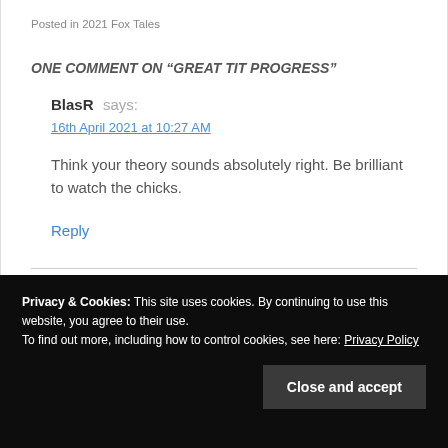Posted in 2021 Fox Tales
ONE COMMENT ON “GREAT TIT PROGRESS”
BlasR says:
16th April 2021 at 10:27 AM
Think your theory sounds absolutely right. Be brilliant to watch the chicks.
Reply
Privacy & Cookies: This site uses cookies. By continuing to use this website, you agree to their use.
To find out more, including how to control cookies, see here: Privacy Policy
Close and accept